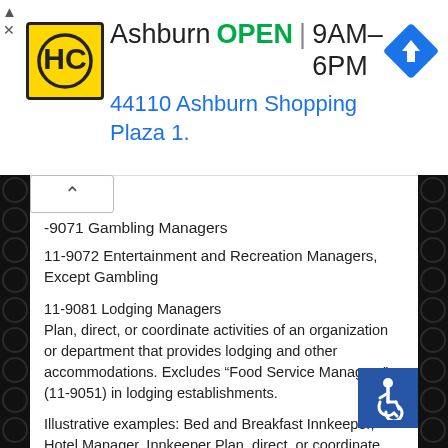[Figure (screenshot): Advertisement banner for HC (Haverty's/Home Center) store in Ashburn showing OPEN 9AM-6PM and address 44110 Ashburn Shopping Plaza 1. with navigation arrow icon and close button]
-9071 Gambling Managers
11-9072 Entertainment and Recreation Managers, Except Gambling
11-9081 Lodging Managers
Plan, direct, or coordinate activities of an organization or department that provides lodging and other accommodations. Excludes “Food Service Managers” (11-9051) in lodging establishments.
Illustrative examples: Bed and Breakfast Innkeeper, Hotel Manager, Innkeeper Plan, direct, or coordinate entertainment and recreational activities and operations of a recreational facility, including cruise ships and parks.
Illustrative examples: Amusement Park Manager, Fitness Club Manager, Marina Club Manager, Skating Rink Manager,